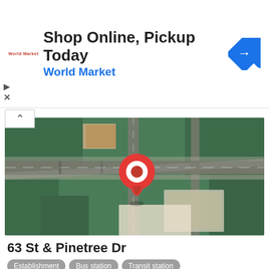[Figure (infographic): Advertisement banner for World Market with text 'Shop Online, Pickup Today' and 'World Market', featuring a blue diamond navigation icon on the right and a small World Market logo on the left.]
[Figure (map): Satellite/aerial map view showing an intersection at 63 St and Pinetree Dr in Miami Beach, FL. A red location pin marker is visible near the center of the map. The area shows roads, trees, and buildings from a bird's-eye view.]
63 St & Pinetree Dr
Establishment
Bus station
Transit station
United States, Miami Beach, FL 33140